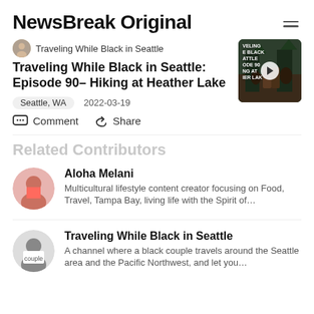NewsBreak Original
Traveling While Black in Seattle
Traveling While Black in Seattle: Episode 90– Hiking at Heather Lake
Seattle, WA   2022-03-19
Comment   Share
Related Contributors
Aloha Melani
Multicultural lifestyle content creator focusing on Food, Travel, Tampa Bay, living life with the Spirit of…
Traveling While Black in Seattle
A channel where a black couple travels around the Seattle area and the Pacific Northwest, and let you…